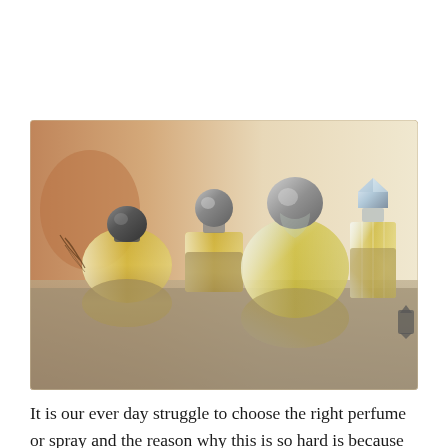[Figure (photo): Four decorative glass perfume bottles of varying shapes and sizes arranged on a reflective surface. From left to right: a round squat bottle with a black dome cap, a square bottle with a silver ball stopper, a large round bottle with a large silver dome cap, and a tall faceted rectangular bottle with a crystal diamond-shaped stopper. The bottles contain golden/yellow liquid and are reflected on the glossy surface below. Background is warm blurred beige tones.]
It is our ever day struggle to choose the right perfume or spray and the reason why this is so hard is because we are